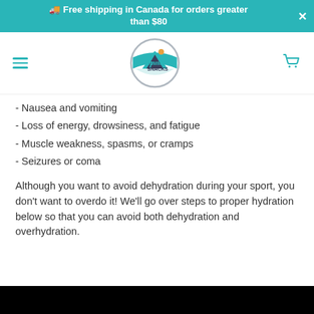Free shipping in Canada for orders greater than $80
[Figure (logo): 7 Summits Snacks circular logo with mountain illustration]
- Nausea and vomiting
- Loss of energy, drowsiness, and fatigue
- Muscle weakness, spasms, or cramps
- Seizures or coma
Although you want to avoid dehydration during your sport, you don't want to overdo it! We'll go over steps to proper hydration below so that you can avoid both dehydration and overhydration.